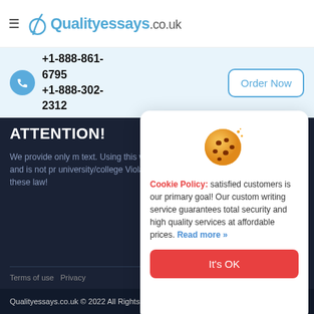Qualityessays.co.uk
+1-888-861-6795
+1-888-302-2312
Order Now
ATTENTION!
We provide only m text. Using this wri legal and is not pr university/college Violation of these law!
Terms of use  Privacy
[Figure (other): Cookie emoji illustration — round cookie with chocolate chips and a bite taken out, with sparkle dots]
Cookie Policy: satisfied customers is our primary goal! Our custom writing service guarantees total security and high quality services at affordable prices. Read more »
It's OK
Qualityessays.co.uk © 2022 All Rights reserved.